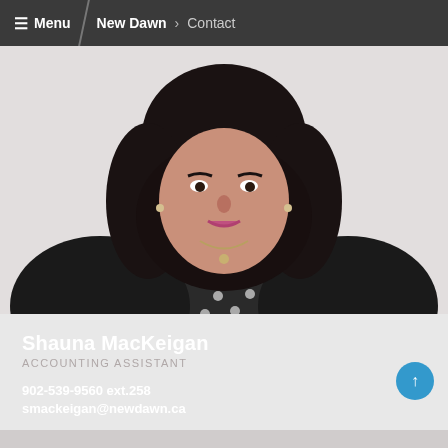≡ Menu  New Dawn › Contact
[Figure (photo): Professional headshot of Shauna MacKeigan, a woman with dark curly hair wearing a black jacket over a polka-dot top, photographed against a white background.]
Shauna MacKeigan
ACCOUNTING ASSISTANT
902-539-9560 ext.258
smackeigan@newdawn.ca